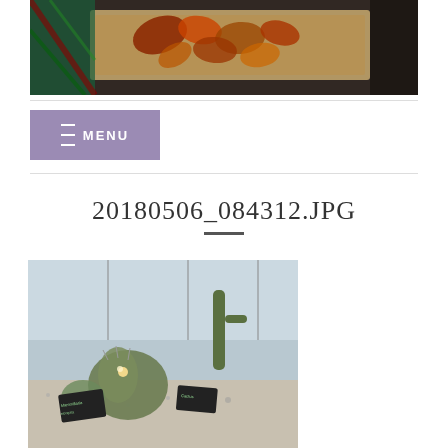[Figure (photo): A wooden framed display with autumn leaves and a plaid fabric on a dark surface, photographed from above at an angle.]
[Figure (other): A purple/mauve button labeled MENU with hamburger icon lines]
20180506_084312.JPG
[Figure (photo): A garden scene with various cacti and succulents planted in gravel, with small chalkboard plant identification signs. Taken in a greenhouse or outdoor botanical garden setting.]